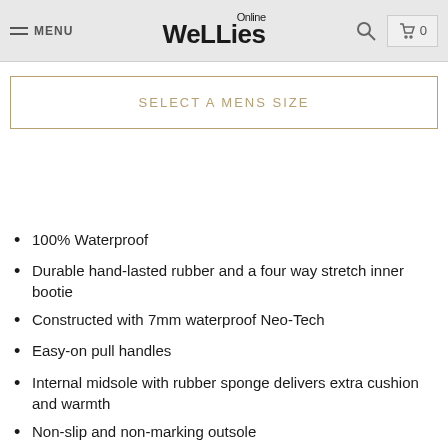MENU | Wellies Online | 0
SELECT A MENS SIZE
100% Waterproof
Durable hand-lasted rubber and a four way stretch inner bootie
Constructed with 7mm waterproof Neo-Tech
Easy-on pull handles
Internal midsole with rubber sponge delivers extra cushion and warmth
Non-slip and non-marking outsole
Aegis antimicrobial odor protection insole